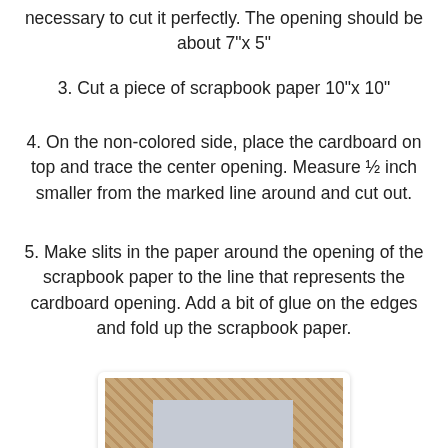necessary to cut it perfectly. The opening should be about 7"x 5"
3. Cut a piece of scrapbook paper 10"x 10"
4. On the non-colored side, place the cardboard on top and trace the center opening. Measure ½ inch smaller from the marked line around and cut out.
5. Make slits in the paper around the opening of the scrapbook paper to the line that represents the cardboard opening. Add a bit of glue on the edges and fold up the scrapbook paper.
[Figure (photo): A handmade picture frame covered in scrapbook paper with a floral/textured pattern, showing the rectangular center opening, placed on a light blue/grey surface.]